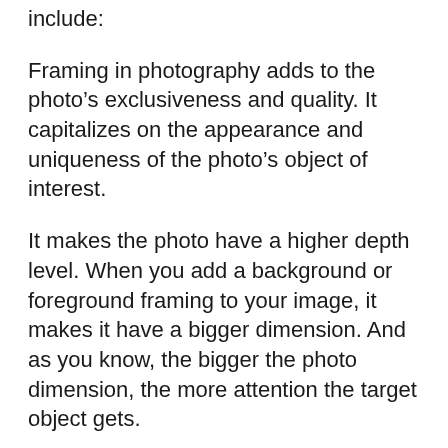include:
Framing in photography adds to the photo’s exclusiveness and quality. It capitalizes on the appearance and uniqueness of the photo’s object of interest.
It makes the photo have a higher depth level. When you add a background or foreground framing to your image, it makes it have a bigger dimension. And as you know, the bigger the photo dimension, the more attention the target object gets.
It tells the photo’s story more efficiently. While framing your image, you can add context to it to tell the story more efficiently.